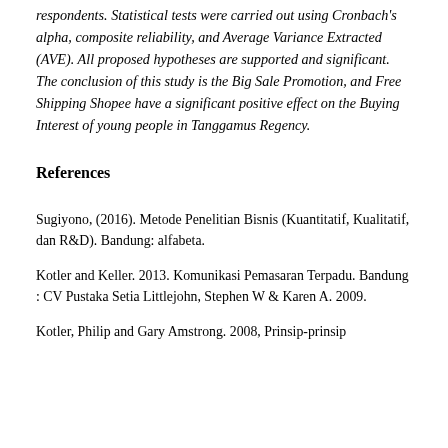respondents. Statistical tests were carried out using Cronbach's alpha, composite reliability, and Average Variance Extracted (AVE). All proposed hypotheses are supported and significant. The conclusion of this study is the Big Sale Promotion, and Free Shipping Shopee have a significant positive effect on the Buying Interest of young people in Tanggamus Regency.
References
Sugiyono, (2016). Metode Penelitian Bisnis (Kuantitatif, Kualitatif, dan R&D). Bandung: alfabeta.
Kotler and Keller. 2013. Komunikasi Pemasaran Terpadu. Bandung : CV Pustaka Setia Littlejohn, Stephen W & Karen A. 2009.
Kotler, Philip and Gary Amstrong. 2008, Prinsip-prinsip